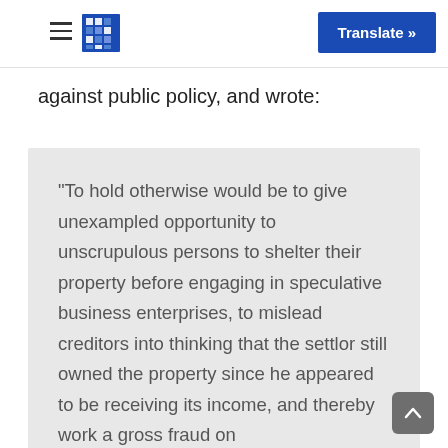Translate »
against public policy, and wrote:
“To hold otherwise would be to give unexampled opportunity to unscrupulous persons to shelter their property before engaging in speculative business enterprises, to mislead creditors into thinking that the settlor still owned the property since he appeared to be receiving its income, and thereby work a gross fraud on